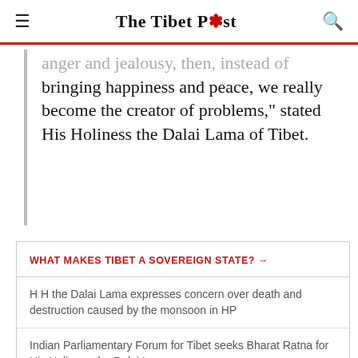The Tibet Post
anger and jealousy, then, instead of bringing happiness and peace, we really become the creator of problems," stated His Holiness the Dalai Lama of Tibet.
WHAT MAKES TIBET A SOVEREIGN STATE? →
H H the Dalai Lama expresses concern over death and destruction caused by the monsoon in HP
Indian Parliamentary Forum for Tibet seeks Bharat Ratna for His Holiness the Dalai Lama
UN expert identifies forced labour arrangement in Tibet, will report to next session of UNHRC